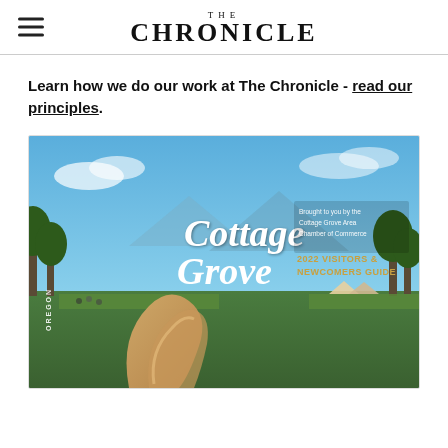THE CHRONICLE
Learn how we do our work at The Chronicle - read our principles.
[Figure (photo): Cover of the 2022 Cottage Grove Oregon Visitors & Newcomers Guide, brought to you by the Cottage Grove Area Chamber of Commerce. Features a blue sky background with large white script text 'Cottage Grove', the word 'OREGON' vertically on the left, and a gold sculpture in the foreground with an outdoor festival scene.]